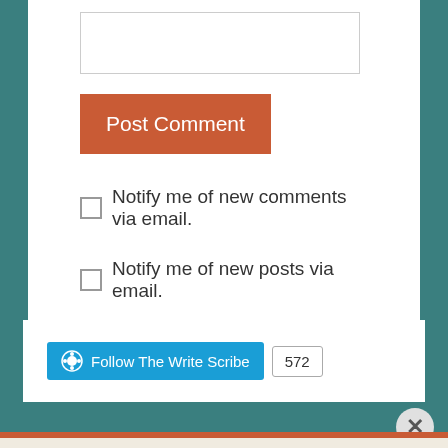[Figure (screenshot): Text input box for comment entry]
Post Comment
Notify me of new comments via email.
Notify me of new posts via email.
Follow The Write Scribe  572
Advertisements
Need a website quickly – and on a budget?